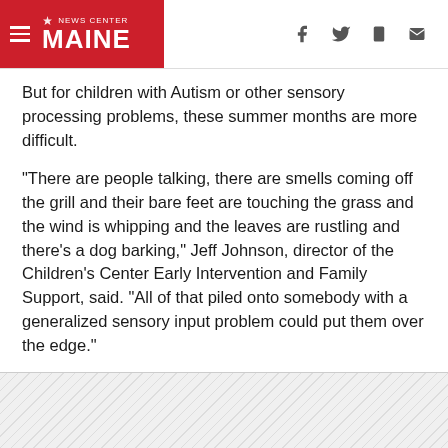NEWS CENTER MAINE
But for children with Autism or other sensory processing problems, these summer months are more difficult.
"There are people talking, there are smells coming off the grill and their bare feet are touching the grass and the wind is whipping and the leaves are rustling and there's a dog barking," Jeff Johnson, director of the Children's Center Early Intervention and Family Support, said. "All of that piled onto somebody with a generalized sensory input problem could put them over the edge."
[Figure (other): Striped diagonal pattern placeholder/advertisement area]
Which is why parents and providers work to identify a child's sensory needs.